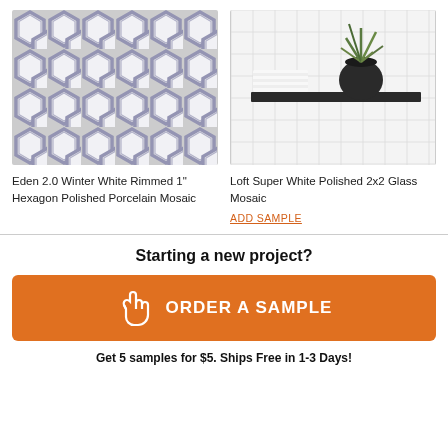[Figure (photo): Close-up of Eden 2.0 Winter White Rimmed 1" Hexagon Polished Porcelain Mosaic tile pattern — white hexagonal tiles with gray/blue rims in a honeycomb pattern]
[Figure (photo): Bathroom shelf scene showing Loft Super White Polished 2x2 Glass Mosaic tile wall with white square tiles, a dark shelf, white towels, and a black pot with a plant]
Eden 2.0 Winter White Rimmed 1" Hexagon Polished Porcelain Mosaic
Loft Super White Polished 2x2 Glass Mosaic
ADD SAMPLE
Starting a new project?
ORDER A SAMPLE
Get 5 samples for $5. Ships Free in 1-3 Days!